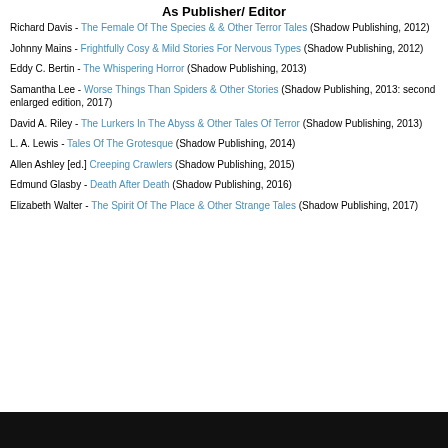As Publisher/ Editor
Richard Davis - The Female Of The Species & & Other Terror Tales (Shadow Publishing, 2012)
Johnny Mains - Frightfully Cosy & Mild Stories For Nervous Types (Shadow Publishing, 2012)
Eddy C. Bertin - The Whispering Horror (Shadow Publishing, 2013)
Samantha Lee - Worse Things Than Spiders & Other Stories (Shadow Publishing, 2013: second enlarged edition, 2017)
David A. Riley - The Lurkers In The Abyss & Other Tales Of Terror (Shadow Publishing, 2013)
L. A. Lewis - Tales Of The Grotesque (Shadow Publishing, 2014)
Allen Ashley [ed.] Creeping Crawlers (Shadow Publishing, 2015)
Edmund Glasby - Death After Death (Shadow Publishing, 2016)
Elizabeth Walter - The Spirit Of The Place & Other Strange Tales (Shadow Publishing, 2017)